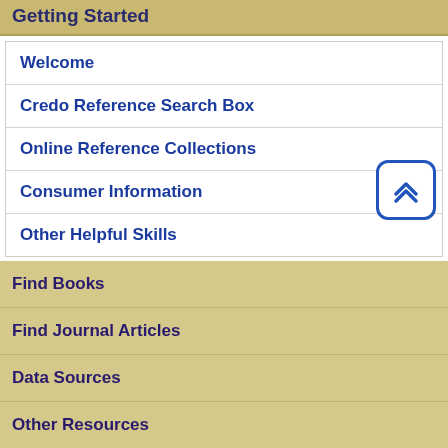Getting Started
Welcome
Credo Reference Search Box
Online Reference Collections
Consumer Information
Other Helpful Skills
Find Books
Find Journal Articles
Data Sources
Other Resources
Other BUSI Guides